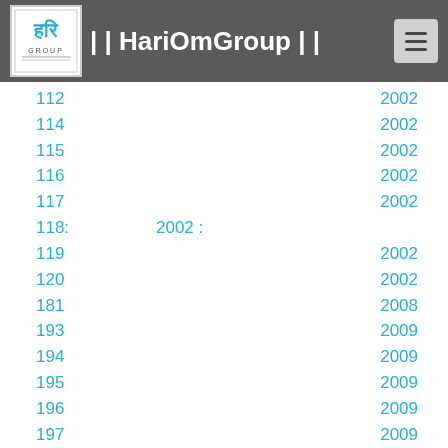HariOmGroup
112   2002
114   2002
115   2002
116   2002
117   2002
118:   2002 :
119   2002
120   2002
181   2008
193   2009
194   2009
195   2009
196   2009
197   2009
198   2009
199   2009
200   2009
201   2009
202   2009
203   2009
204   2009